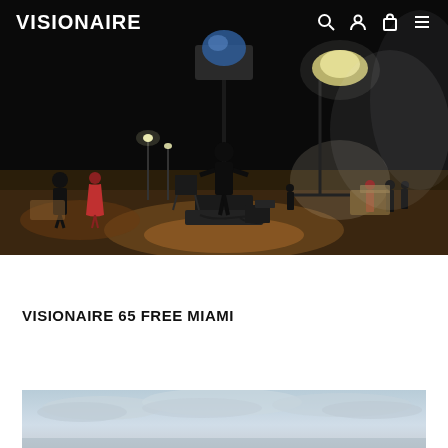VISIONAIRE
[Figure (photo): Night scene on a beach or open sandy area with film crew silhouettes, large studio lights, equipment, and people in formal attire in the background. Dark sky with dramatic lighting.]
VISIONAIRE 65 FREE MIAMI
[Figure (photo): Partial view of an outdoor daytime scene with cloudy sky and landscape at the bottom of the page.]